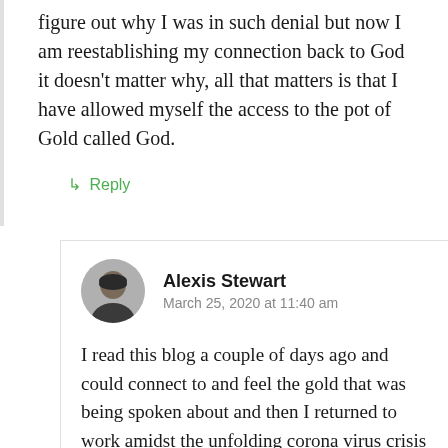figure out why I was in such denial but now I am reestablishing my connection back to God it doesn't matter why, all that matters is that I have allowed myself the access to the pot of Gold called God.
↳ Reply
Alexis Stewart
March 25, 2020 at 11:40 am
I read this blog a couple of days ago and could connect to and feel the gold that was being spoken about and then I returned to work amidst the unfolding corona virus crisis and the gold seemed to disappear without a trace, but today it's back which is a sure fire indication to me